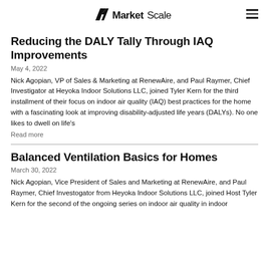MarketScale
Reducing the DALY Tally Through IAQ Improvements
May 4, 2022
Nick Agopian, VP of Sales & Marketing at RenewAire, and Paul Raymer, Chief Investigator at Heyoka Indoor Solutions LLC, joined Tyler Kern for the third installment of their focus on indoor air quality (IAQ) best practices for the home with a fascinating look at improving disability-adjusted life years (DALYs). No one likes to dwell on life's
Read more
Balanced Ventilation Basics for Homes
March 30, 2022
Nick Agopian, Vice President of Sales and Marketing at RenewAire, and Paul Raymer, Chief Investogator from Heyoka Indoor Solutions LLC, joined Host Tyler Kern for the second of the ongoing series on indoor air quality in indoor